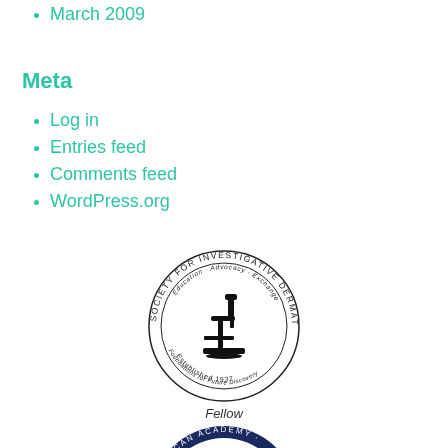March 2009
Meta
Log in
Entries feed
Comments feed
WordPress.org
[Figure (logo): Society for Investigative Dermatology seal — circular seal with microscope image, text 'Society for Investigative Dermatology', 'Education · Advocacy · Exchange', 'Foundations for Future Discovery', 'Established 1937', with 'Fellow' below]
[Figure (logo): American Academy of Dermatology circular logo — dark blue circle with 'AAD' large letters, '1938', text 'American Academy of Dermatology' around ring, caption 'Physician Dedicated to Excellence in Dermatology']